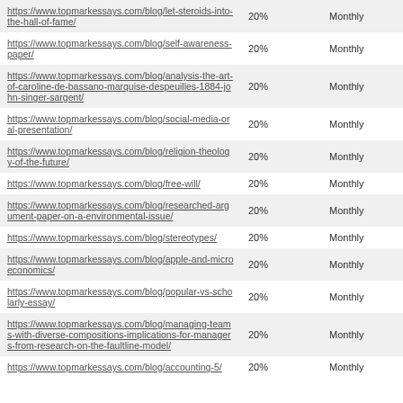| https://www.topmarkessays.com/blog/let-steroids-into-the-hall-of-fame/ | 20% | Monthly |
| https://www.topmarkessays.com/blog/self-awareness-paper/ | 20% | Monthly |
| https://www.topmarkessays.com/blog/analysis-the-art-of-caroline-de-bassano-marquise-despeuilles-1884-john-singer-sargent/ | 20% | Monthly |
| https://www.topmarkessays.com/blog/social-media-oral-presentation/ | 20% | Monthly |
| https://www.topmarkessays.com/blog/religion-theology-of-the-future/ | 20% | Monthly |
| https://www.topmarkessays.com/blog/free-will/ | 20% | Monthly |
| https://www.topmarkessays.com/blog/researched-argument-paper-on-a-environmental-issue/ | 20% | Monthly |
| https://www.topmarkessays.com/blog/stereotypes/ | 20% | Monthly |
| https://www.topmarkessays.com/blog/apple-and-microeconomics/ | 20% | Monthly |
| https://www.topmarkessays.com/blog/popular-vs-scholarly-essay/ | 20% | Monthly |
| https://www.topmarkessays.com/blog/managing-teams-with-diverse-compositions-implications-for-managers-from-research-on-the-faultline-model/ | 20% | Monthly |
| https://www.topmarkessays.com/blog/accounting-5/ | 20% | Monthly |